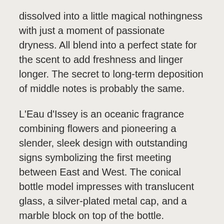dissolved into a little magical nothingness with just a moment of passionate dryness. All blend into a perfect state for the scent to add freshness and linger longer. The secret to long-term deposition of middle notes is probably the same.
L'Eau d'Issey is an oceanic fragrance combining flowers and pioneering a slender, sleek design with outstanding signs symbolizing the first meeting between East and West. The conical bottle model impresses with translucent glass, a silver-plated metal cap, and a marble block on top of the bottle.
Since 1992, L'eau D'Issey of the Issey Miyake brand has become a distinctively fresh water fragrance for a woman looking for a casual fragrance of her own. The soft, feminine breath emanating from this fragrance line is perfectly suited for social events while giving